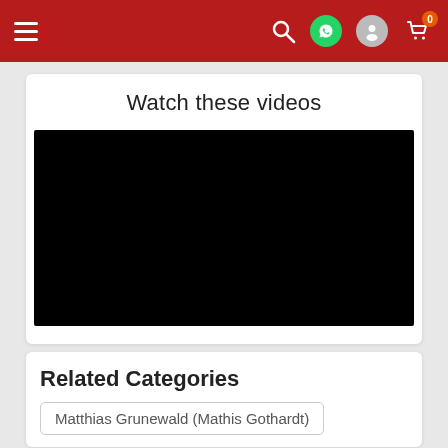Navigation bar with hamburger menu, search, WhatsApp, user, and cart icons
Watch these videos
[Figure (other): Black video player embed area]
Related Categories
Matthias Grunewald (Mathis Gothardt)